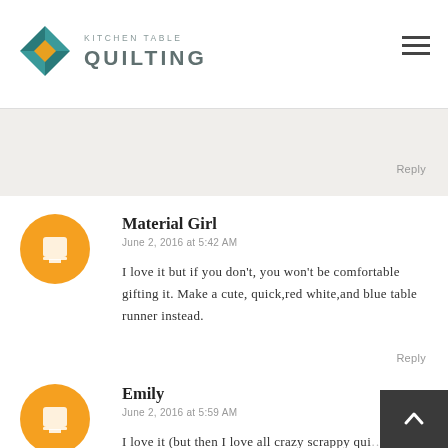Kitchen Table Quilting
not a entry hoping to receive 1st place in a juried
Reply
Material Girl
June 2, 2016 at 5:42 AM
I love it but if you don't, you won't be comfortable gifting it. Make a cute, quick,red white,and blue table runner instead.
Reply
Emily
June 2, 2016 at 5:59 AM
I love it (but then I love all crazy scrappy qui… You could let your kid decide - they probably know